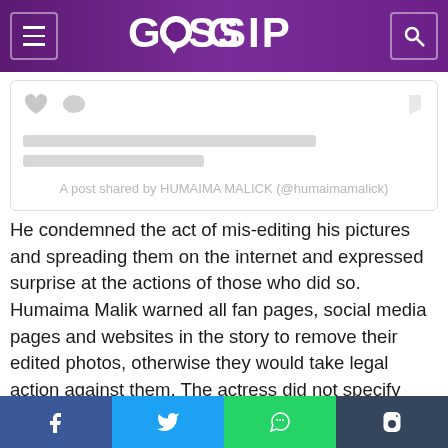GOSSIP
[Figure (screenshot): Social media embedded post placeholder with heart and comment icons, two grey loading bars, and caption 'A post shared by HUMAIMA MALICK (@humaimamalick)']
He condemned the act of mis-editing his pictures and spreading them on the internet and expressed surprise at the actions of those who did so. Humaima Malik warned all fan pages, social media pages and websites in the story to remove their edited photos, otherwise they would take legal action against them. The actress did not specify which of her photos were being edited and went viral, but recently
Facebook | Twitter | WhatsApp | Tumblr